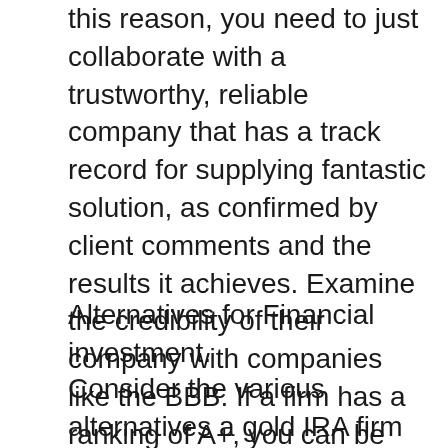this reason, you need to just collaborate with a trustworthy, reliable company that has a track record for supplying fantastic solution, as confirmed by client comments and the results it achieves. Examine the credibility of their company with companies like the BBB. If a firm has a ranking of A+, you can be certain it is a trustworthy service provider. In addition, you ought to focus on firms that have Customer Matters certification, so you can be confident that they run a dependable operation.
Alternatives for Financial investment.
Consider the various alternatives a gold IRA firm has the ability to offer. Some firms, for